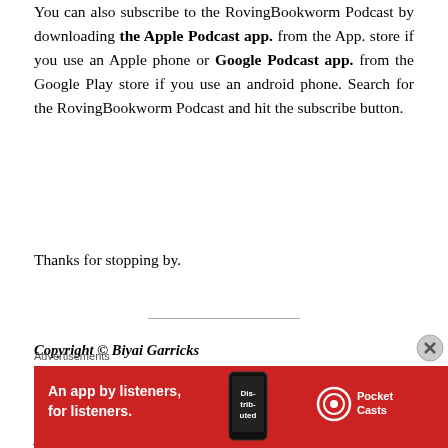You can also subscribe to the RovingBookworm Podcast by downloading the Apple Podcast app. from the App. store if you use an Apple phone or Google Podcast app. from the Google Play store if you use an android phone. Search for the RovingBookworm Podcast and hit the subscribe button.
Thanks for stopping by.
Copyright © Biyai Garricks
Unauthorized use and/or duplication of this material without express and written permission from this site's author and/or owner is strictly prohibited. Excerpts and links may be used, provided that full and clear credit is
[Figure (infographic): Pocket Casts advertisement banner with red background, showing text 'An app by listeners, for listeners.' with Pocket Casts logo and a phone image showing 'Dis-trib-uted']